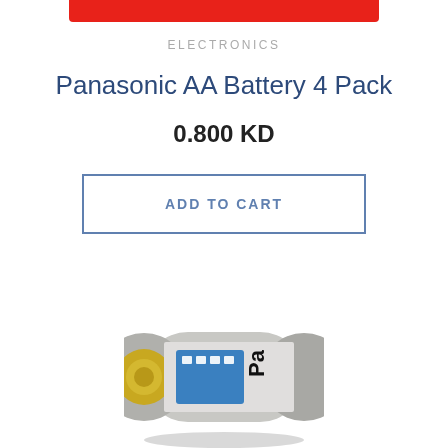[Figure (other): Red navigation bar at the top of the page]
ELECTRONICS
Panasonic AA Battery 4 Pack
0.800 KD
ADD TO CART
[Figure (photo): Close-up photo of a Panasonic AA battery lying on its side, showing the blue Panasonic logo label on a silver/grey cylinder, with gold terminal visible at top]